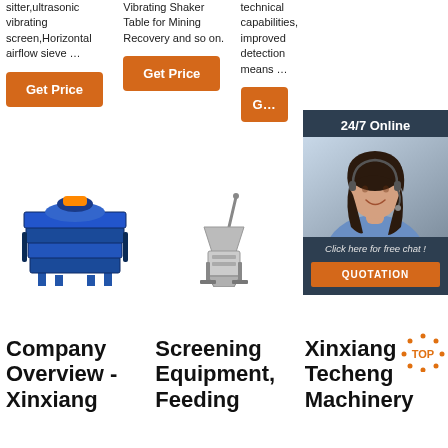sitter,ultrasonic vibrating screen,Horizontal airflow sieve …
Vibrating Shaker Table for Mining Recovery and so on.
technical capabilities, improved detection means …
Get Price
Get Price
G…
[Figure (photo): Blue industrial vibrating screen machine on legs]
[Figure (photo): Stainless steel feeding/mixing equipment with handle]
[Figure (photo): 24/7 Online chat widget with woman wearing headset, Click here for free chat, QUOTATION button]
Company Overview - Xinxiang
Screening Equipment, Feeding
Xinxiang Techeng Machinery